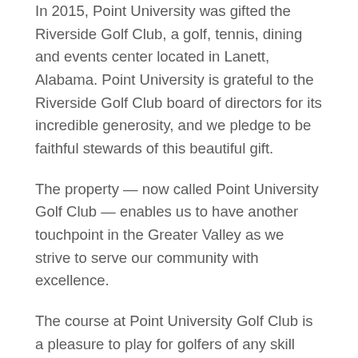In 2015, Point University was gifted the Riverside Golf Club, a golf, tennis, dining and events center located in Lanett, Alabama. Point University is grateful to the Riverside Golf Club board of directors for its incredible generosity, and we pledge to be faithful stewards of this beautiful gift.
The property — now called Point University Golf Club — enables us to have another touchpoint in the Greater Valley as we strive to serve our community with excellence.
The course at Point University Golf Club is a pleasure to play for golfers of any skill level – challenging you while providing a relaxing, picturesque backdrop.
Test your accuracy as you navigate our Bermuda fairways, rough water hazards, sand traps and Tift Dwarf Bermuda greens. Point University Golf Club has everything needed to challenge you and improve your game. Our goal is to provide you with a quality